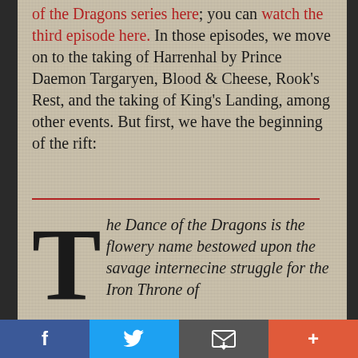of the Dragons series here; you can watch the third episode here. In those episodes, we move on to the taking of Harrenhal by Prince Daemon Targaryen, Blood & Cheese, Rook's Rest, and the taking of King's Landing, among other events. But first, we have the beginning of the rift:
The Dance of the Dragons is the flowery name bestowed upon the savage internecine struggle for the Iron Throne of
[Figure (other): Social media sharing bar with Facebook, Twitter, Email, and plus buttons]